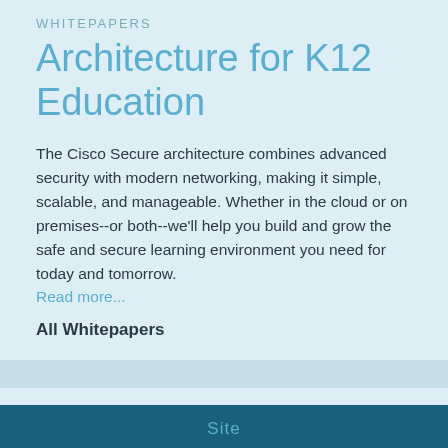WHITEPAPERS
Architecture for K12 Education
The Cisco Secure architecture combines advanced security with modern networking, making it simple, scalable, and manageable. Whether in the cloud or on premises--or both--we'll help you build and grow the safe and secure learning environment you need for today and tomorrow.
Read more...
All Whitepapers
Site
K12 News
Opinion